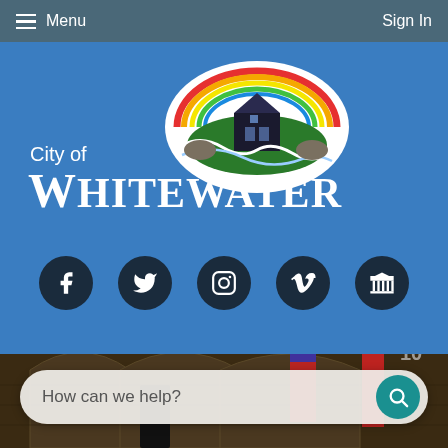Menu  |  Sign In
[Figure (logo): City of Whitewater municipal logo — oval emblem with rainbow, building, waterfall, and trees. Text reads 'City of WHITEWATER' in white on blue background.]
[Figure (infographic): Social media icons row: Facebook, Twitter, Instagram, Vimeo, and a government/archive icon, each in dark circular buttons on blue background.]
[Figure (photo): Background photograph of Whitewater city hall building exterior with stone arches, American flags and red banners.]
How can we help?